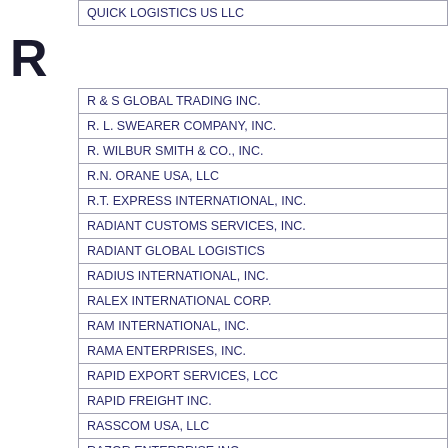QUICK LOGISTICS US LLC
R
R & S GLOBAL TRADING INC.
R. L. SWEARER COMPANY, INC.
R. WILBUR SMITH & CO., INC.
R.N. ORANE USA, LLC
R.T. EXPRESS INTERNATIONAL, INC.
RADIANT CUSTOMS SERVICES, INC.
RADIANT GLOBAL LOGISTICS
RADIUS INTERNATIONAL, INC.
RALEX INTERNATIONAL CORP.
RAM INTERNATIONAL, INC.
RAMA ENTERPRISES, INC.
RAPID EXPORT SERVICES, LCC
RAPID FREIGHT INC.
RASSCOM USA, LLC
RAZOR ENTERPRISE INC.
RCS LOGISTICS, INC.
REAL INT'L SCM CORP
REALCO LOGISTICS LTD